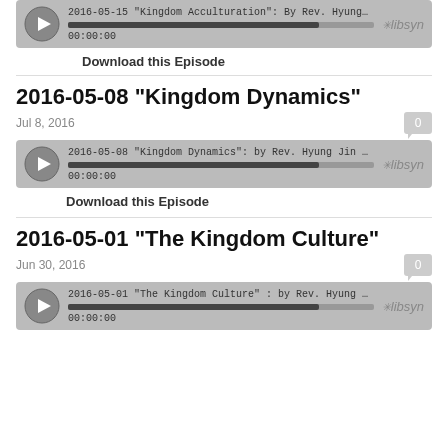[Figure (screenshot): Libsyn audio player for 2016-05-15 Kingdom Acculturation episode]
Download this Episode
2016-05-08 "Kingdom Dynamics"
Jul 8, 2016
[Figure (screenshot): Libsyn audio player for 2016-05-08 Kingdom Dynamics episode]
Download this Episode
2016-05-01 "The Kingdom Culture"
Jun 30, 2016
[Figure (screenshot): Libsyn audio player for 2016-05-01 The Kingdom Culture episode]